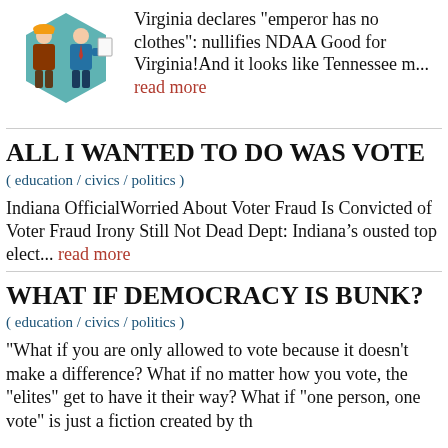[Figure (illustration): Two cartoon figures: one in a brown coat and hard hat, one in a blue suit, standing in front of a teal hexagonal shape.]
Virginia declares "emperor has no clothes": nullifies NDAA Good for Virginia! And it looks like Tennessee m... read more
ALL I WANTED TO DO WAS VOTE
( education / civics / politics )
Indiana OfficialWorried About Voter Fraud Is Convicted of Voter Fraud Irony Still Not Dead Dept: Indiana’s ousted top elect... read more
WHAT IF DEMOCRACY IS BUNK?
( education / civics / politics )
"What if you are only allowed to vote because it doesn't make a difference? What if no matter how you vote, the "elites" get to have it their way? What if "one person, one vote" is just a fiction created by th